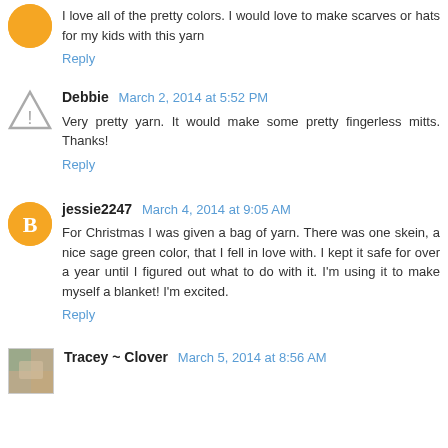I love all of the pretty colors. I would love to make scarves or hats for my kids with this yarn
Reply
Debbie March 2, 2014 at 5:52 PM
Very pretty yarn. It would make some pretty fingerless mitts. Thanks!
Reply
jessie2247 March 4, 2014 at 9:05 AM
For Christmas I was given a bag of yarn. There was one skein, a nice sage green color, that I fell in love with. I kept it safe for over a year until I figured out what to do with it. I'm using it to make myself a blanket! I'm excited.
Reply
Tracey ~ Clover March 5, 2014 at 8:56 AM